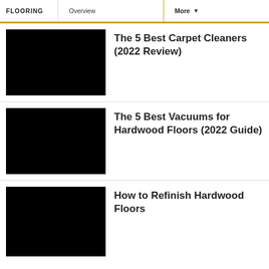FLOORING | Overview | More
[Figure (photo): Black thumbnail image for carpet cleaners article]
The 5 Best Carpet Cleaners (2022 Review)
[Figure (photo): Black thumbnail image for vacuums for hardwood floors article]
The 5 Best Vacuums for Hardwood Floors (2022 Guide)
[Figure (photo): Black thumbnail image for how to refinish hardwood floors article]
How to Refinish Hardwood Floors